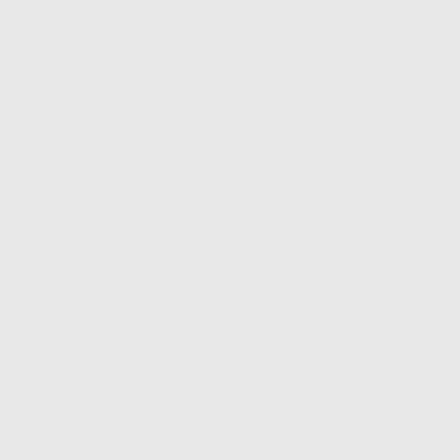compil... which pass a Python an exa directive ../sta always runnin disturb find the put it in string, aliases
quiet - warning compil
force - module that a